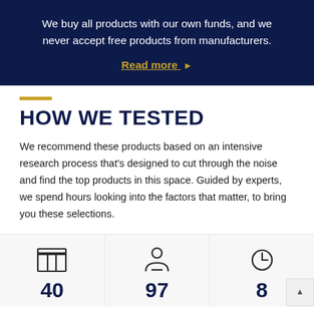We buy all products with our own funds, and we never accept free products from manufacturers.
Read more ▶
HOW WE TESTED
We recommend these products based on an intensive research process that's designed to cut through the noise and find the top products in this space. Guided by experts, we spend hours looking into the factors that matter, to bring you these selections.
[Figure (infographic): Three stat icons with numbers: a box/product icon with 40, a person/expert icon with 97, a clock icon with 8]